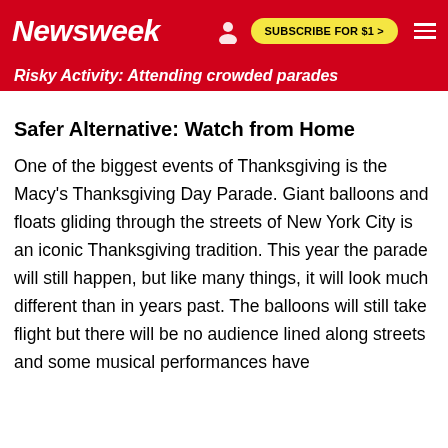Newsweek — SUBSCRIBE FOR $1 >
Risky Activity: Attending crowded parades
Safer Alternative: Watch from Home
One of the biggest events of Thanksgiving is the Macy's Thanksgiving Day Parade. Giant balloons and floats gliding through the streets of New York City is an iconic Thanksgiving tradition. This year the parade will still happen, but like many things, it will look much different than in years past. The balloons will still take flight but there will be no audience lined along streets and some musical performances have